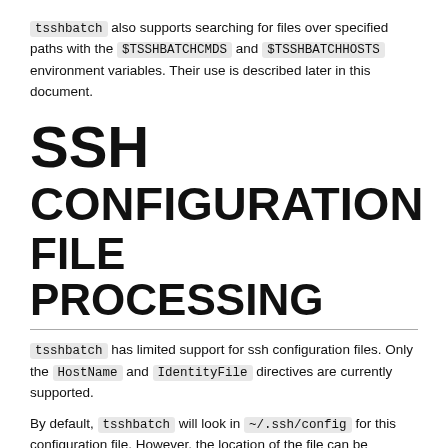tsshbatch also supports searching for files over specified paths with the $TSSHBATCHCMDS and $TSSHBATCHHOSTS environment variables. Their use is described later in this document.
SSH CONFIGURATION FILE PROCESSING
tsshbatch has limited support for ssh configuration files. Only the HostName and IdentityFile directives are currently supported.
By default, tsshbatch will look in ~/.ssh/config for this configuration file. However, the location of the file can be